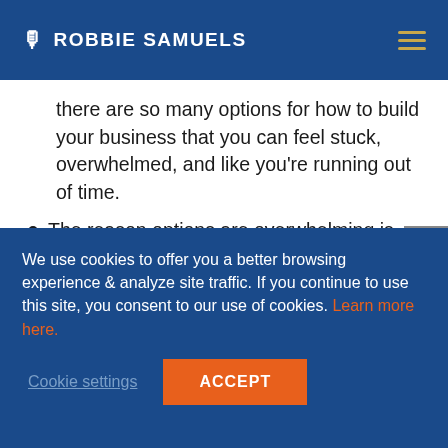ROBBIE SAMUELS
there are so many options for how to build your business that you can feel stuck, overwhelmed, and like you're running out of time.
The reason options are overwhelming is that you're looking at them as a series of disconnected steps when — to make the most of your time — you need a strategy
We use cookies to offer you a better browsing experience & analyze site traffic. If you continue to use this site, you consent to our use of cookies. Learn more here.
Cookie settings   ACCEPT